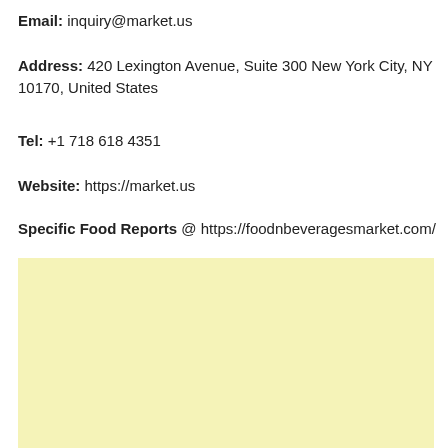Email: inquiry@market.us
Address: 420 Lexington Avenue, Suite 300 New York City, NY 10170, United States
Tel: +1 718 618 4351
Website: https://market.us
Specific Food Reports @ https://foodnbeveragesmarket.com/
[Figure (other): Light yellow/cream colored rectangle box, blank content area]